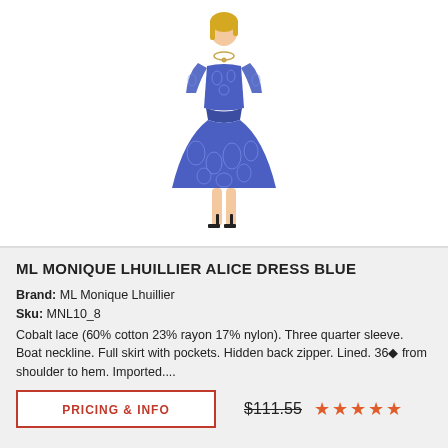[Figure (photo): A woman wearing a blue lace dress with three-quarter sleeves, boat neckline, and full skirt. The dress is cobalt blue with a floral lace pattern. She is wearing black heeled sandals and a necklace.]
ML MONIQUE LHUILLIER ALICE DRESS BLUE
Brand: ML Monique Lhuillier
Sku: MNL10_8
Cobalt lace (60% cotton 23% rayon 17% nylon). Three quarter sleeve. Boat neckline. Full skirt with pockets. Hidden back zipper. Lined. 36◆ from shoulder to hem. Imported....
PRICING & INFO
$111.55